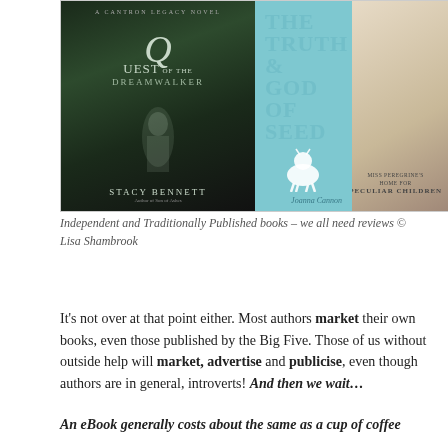[Figure (photo): Two book covers side by side. Left: 'Quest of the Dreamwalker' by Stacy Bennett, a dark fantasy cover with a woman in a white dress in a misty forest. Right: A blue book cover with a goat illustration by Joanna Cannon, overlapping with 'Miss Peregrine's Home for Peculiar Children' in the background.]
Independent and Traditionally Published books – we all need reviews © Lisa Shambrook
It's not over at that point either. Most authors market their own books, even those published by the Big Five. Those of us without outside help will market, advertise and publicise, even though authors are in general, introverts! And then we wait…
An eBook generally costs about the same as a cup of coffee